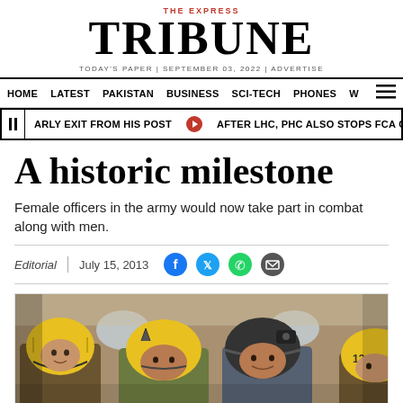THE EXPRESS TRIBUNE — TODAY'S PAPER | SEPTEMBER 03, 2022 | ADVERTISE
HOME | LATEST | PAKISTAN | BUSINESS | SCI-TECH | PHONES | W
ARLY EXIT FROM HIS POST  |  AFTER LHC, PHC ALSO STOPS FCA COLLECTION
A historic milestone
Female officers in the army would now take part in combat along with men.
Editorial  |  July 15, 2013
[Figure (photo): Female soldiers wearing yellow and black helmets numbered 10, 13, 15 sitting inside a military aircraft]